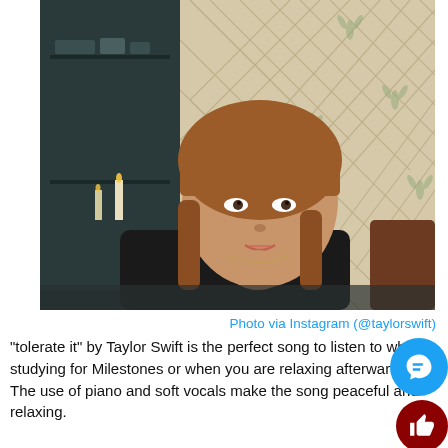[Figure (photo): A young woman with auburn hair in braids, wearing a black turtleneck, resting her chin on her hand. She sits in front of a floral wallpaper background. A dark wooden cabinet with candles is visible to the left. The overall tone is moody and intimate.]
Photo via Instagram (@taylorswift)
“tolerate it” by Taylor Swift is the perfect song to listen to while studying for Milestones or when you are relaxing afterwards. The use of piano and soft vocals make the song peaceful and relaxing.